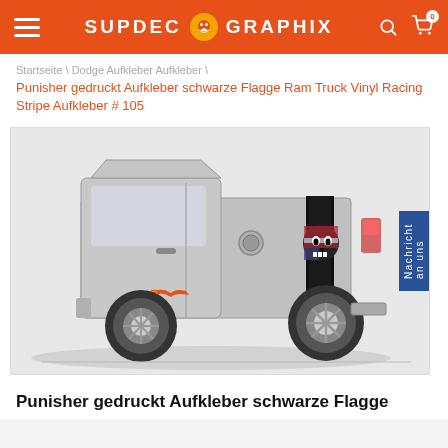SUPDEC GRAPHIX
Startseite \ Dodge Aufkleber Aufkleber \ Punisher gedruckt Aufkleber schwarze Flagge Ram Truck Vinyl Racing Stripe Aufkleber # 105
[Figure (photo): Side view of a grey Dodge Ram pickup truck with a black racing stripe decal on the bed and a Punisher American flag skull graphic on the rear quarter panel. A small orange decorative decal is on the lower door. A blue 'Nachricht an uns' (Message us) tab appears on the right side of the image.]
Punisher gedruckt Aufkleber schwarze Flagge